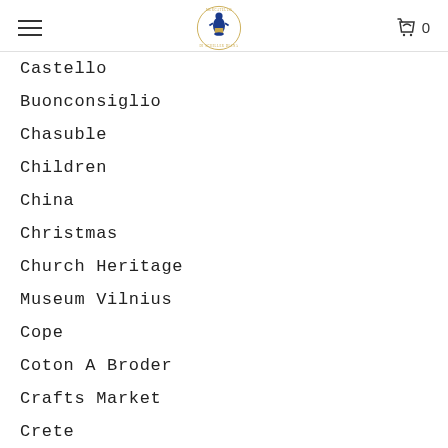Navigation header with hamburger menu, logo, and cart icon showing 0
Castello
Buonconsiglio
Chasuble
Children
China
Christmas
Church Heritage
Museum Vilnius
Cope
Coton A Broder
Crafts Market
Crete